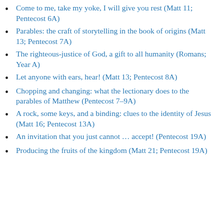Come to me, take my yoke, I will give you rest (Matt 11; Pentecost 6A)
Parables: the craft of storytelling in the book of origins (Matt 13; Pentecost 7A)
The righteous-justice of God, a gift to all humanity (Romans; Year A)
Let anyone with ears, hear! (Matt 13; Pentecost 8A)
Chopping and changing: what the lectionary does to the parables of Matthew (Pentecost 7–9A)
A rock, some keys, and a binding: clues to the identity of Jesus (Matt 16; Pentecost 13A)
An invitation that you just cannot … accept! (Pentecost 19A)
Producing the fruits of the kingdom (Matt 21; Pentecost 19A)